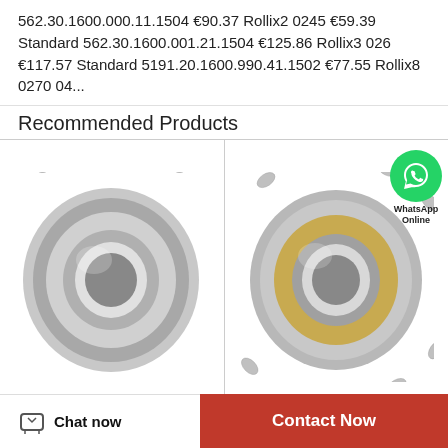562.30.1600.000.11.1504 €90.37 Rollix2 0245 €59.39 Standard 562.30.1600.001.21.1504 €125.86 Rollix3 026 €117.57 Standard 5191.20.1600.990.41.1502 €77.55 Rollix8 0270 04...
Recommended Products
[Figure (photo): Photo of NTN T-M268730/M268710G2 cylindrical roller bearing, metallic silver color]
NTN T-M268730/M268710G2
[Figure (photo): Photo of NTN T-HM266447/HM266410G2 spherical roller bearing with WhatsApp Online badge overlay]
NTN T-HM266447/HM266410G2
T-M268730/M268710G2
T-
Chat now  Contact Now